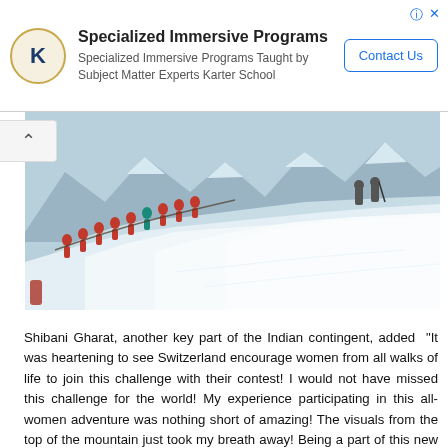[Figure (other): Advertisement banner for Karter School featuring logo, title 'Specialized Immersive Programs', subtitle text, and Contact Us button]
[Figure (photo): A line of mountaineers in red jackets climbing a steep snow-covered ridge with dramatic mountain peaks in the background]
Shibani Gharat, another key part of the Indian contingent, added “It was heartening to see Switzerland encourage women from all walks of life to join this challenge with their contest! I would not have missed this challenge for the world! My experience participating in this all-women adventure was nothing short of amazing! The visuals from the top of the mountain just took my breath away! Being a part of this new chapter in the history of mountaineering – makes me feel proud of myself as well as our entire group!"